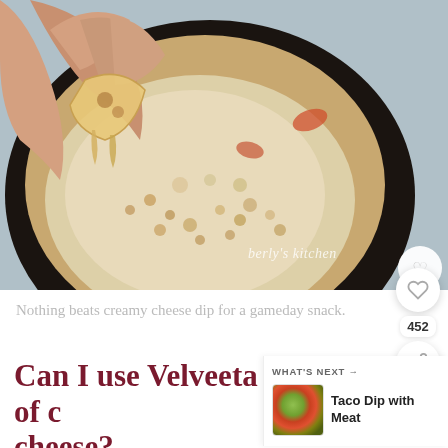[Figure (photo): A hand holding a tortilla chip scooping creamy cheese dip with meat from a cast iron skillet. The skillet is dark/black and contains a creamy white dip with ground meat and peppers. A watermark reads 'berly's kitchen'.]
Nothing beats creamy cheese dip for a gameday snack.
Can I use Velveeta instead of c cheese?